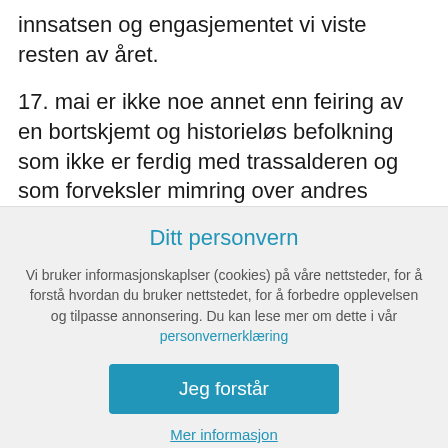innsatsen og engasjementet vi viste resten av året.
17. mai er ikke noe annet enn feiring av en bortskjemt og historieløs befolkning som ikke er ferdig med trassalderen og som forveksler mimring over andres bragder med sine egne. De fleste klarer ikke en gang å skille mellom demokrati og diktatur selv om diktauret står på utsiden å banker på døra deres.
Ditt personvern
Vi bruker informasjonskaplser (cookies) på våre nettsteder, for å forstå hvordan du bruker nettstedet, for å forbedre opplevelsen og tilpasse annonsering. Du kan lese mer om dette i vår personvernerklæring
Jeg forstår
Mer informasjon